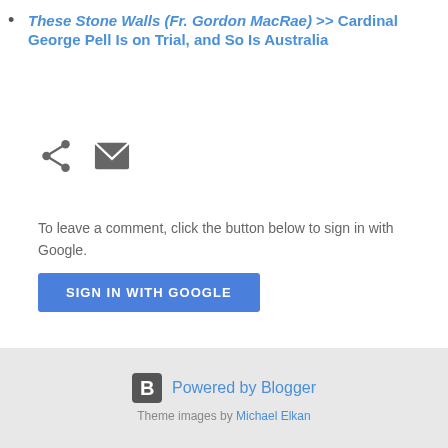These Stone Walls (Fr. Gordon MacRae) >> Cardinal George Pell Is on Trial, and So Is Australia
[Figure (infographic): Share icon and email/envelope icon for social sharing]
To leave a comment, click the button below to sign in with Google.
[Figure (infographic): SIGN IN WITH GOOGLE button (blue)]
Powered by Blogger. Theme images by Michael Elkan